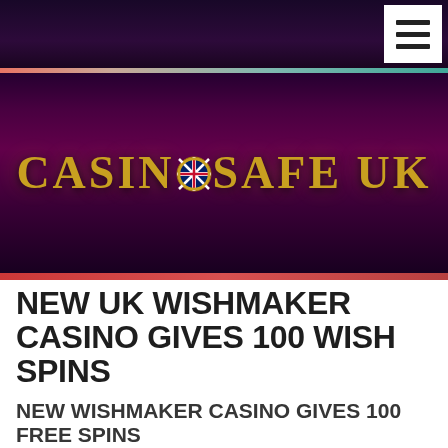[Figure (logo): CasinoSafe UK website header with dark purple/maroon background, gold text logo reading 'CASINO SAFE UK' with a UK flag icon in the middle, and a white hamburger menu button in the top right corner.]
NEW UK WISHMAKER CASINO GIVES 100 WISH SPINS
NEW WISHMAKER CASINO GIVES 100 FREE SPINS
WISHMAKER are a brand new online casino, all new players get free spins and bonuses with your first deposits. How many free spins and how big bonus you get depends where you are located